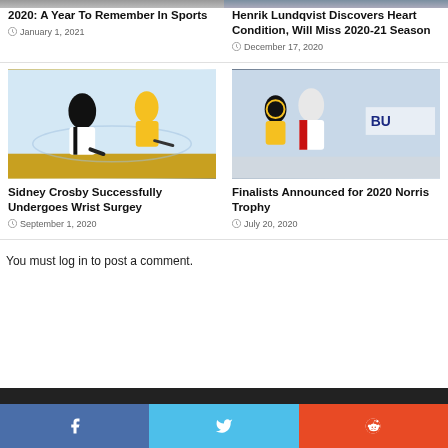[Figure (photo): Top image strip partially visible - sports/people photo left]
[Figure (photo): Top image strip partially visible - hockey player photo right]
2020: A Year To Remember In Sports
January 1, 2021
Henrik Lundqvist Discovers Heart Condition, Will Miss 2020-21 Season
December 17, 2020
[Figure (photo): Sidney Crosby Pittsburgh Penguins hockey player on ice]
[Figure (photo): Washington Capitals player on ice against Boston Bruins]
Sidney Crosby Successfully Undergoes Wrist Surgey
September 1, 2020
Finalists Announced for 2020 Norris Trophy
July 20, 2020
You must log in to post a comment.